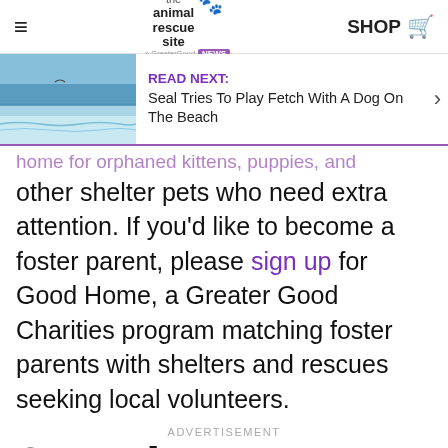the animal rescue site · SHOP
[Figure (screenshot): READ NEXT banner with ocean/beach thumbnail image. Text reads: READ NEXT: Seal Tries To Play Fetch With A Dog On The Beach]
home for orphaned kittens, puppies, and other shelter pets who need extra attention. If you'd like to become a foster parent, please sign up for Good Home, a Greater Good Charities program matching foster parents with shelters and rescues seeking local volunteers.
ADVERTISEMENT
3. Make a donation